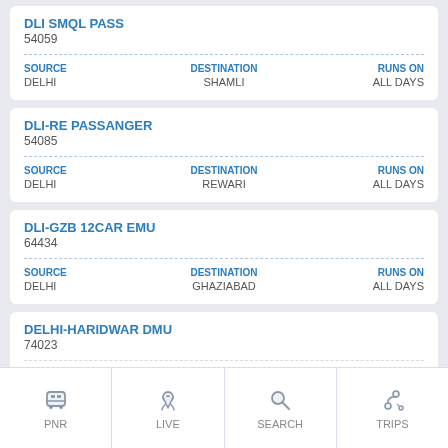DLI SMQL PASS
54059
SOURCE: DELHI | DESTINATION: SHAMLI | RUNS ON: ALL DAYS
DLI-RE PASSANGER
54085
SOURCE: DELHI | DESTINATION: REWARI | RUNS ON: ALL DAYS
DLI-GZB 12CAR EMU
64434
SOURCE: DELHI | DESTINATION: GHAZIABAD | RUNS ON: ALL DAYS
DELHI-HARIDWAR DMU
74023
SOURCE: DELHI | DESTINATION: SHAMLI | RUNS ON: ALL DAYS
PNR | LIVE | SEARCH | TRIPS